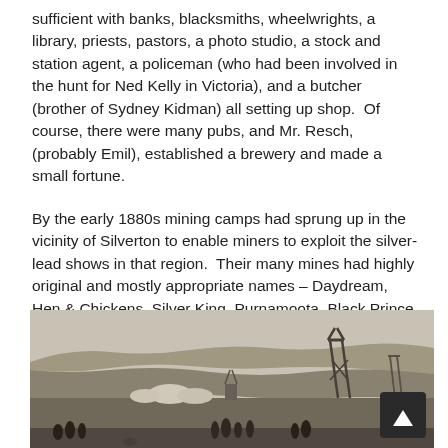sufficient with banks, blacksmiths, wheelwrights, a library, priests, pastors, a photo studio, a stock and station agent, a policeman (who had been involved in the hunt for Ned Kelly in Victoria), and a butcher (brother of Sydney Kidman) all setting up shop.  Of course, there were many pubs, and Mr. Resch, (probably Emil), established a brewery and made a small fortune.
By the early 1880s mining camps had sprung up in the vicinity of Silverton to enable miners to exploit the silver-lead shows in that region.  Their many mines had highly original and mostly appropriate names – Daydream, Hen & Chickens, Silver King, Purnamoota, Black Prince, Apollyon, Big Blow, Nil Desperandum, The Lubra, Terrible Dick, and many others.
[Figure (photo): Black and white historical photograph of a mining camp landscape, showing open terrain with hills in the background, mining structures including what appears to be a headframe/poppet head on the right side, tents or low structures in the middle ground, and several people standing in the foreground.]